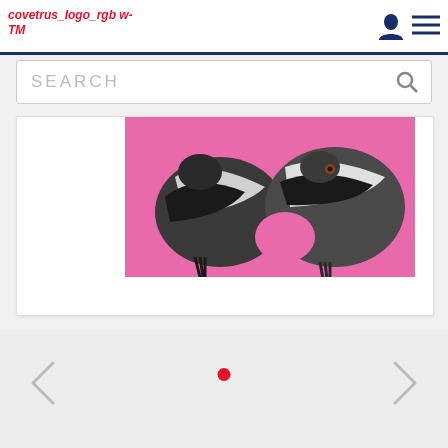[Figure (logo): Covetrus logo text in italic red: 'covetrus_logo_rgb w-TM']
[Figure (screenshot): Search bar with placeholder text SEARCH and magnifying glass icon]
[Figure (photo): Two pigeons/doves with black and white plumage against a pink background, cropped view]
[Figure (infographic): Navigation controls: left arrow, red dot indicator, right arrow on light grey background]